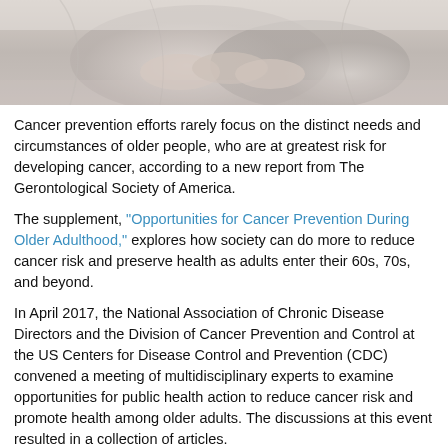[Figure (photo): Photo of elderly people holding hands, dressed in white, soft focus background]
Cancer prevention efforts rarely focus on the distinct needs and circumstances of older people, who are at greatest risk for developing cancer, according to a new report from The Gerontological Society of America.
The supplement, "Opportunities for Cancer Prevention During Older Adulthood," explores how society can do more to reduce cancer risk and preserve health as adults enter their 60s, 70s, and beyond.
In April 2017, the National Association of Chronic Disease Directors and the Division of Cancer Prevention and Control at the US Centers for Disease Control and Prevention (CDC) convened a meeting of multidisciplinary experts to examine opportunities for public health action to reduce cancer risk and promote health among older adults. The discussions at this event resulted in a collection of articles.
Best practices to reduce cancer risk
The supplement calls for such a comprehensive approach, coupled with an intensified application of evidence-based measures and best practices to reduce cancer risk in the growing population of older adults, and this issue is gaining attention from policymakers and...